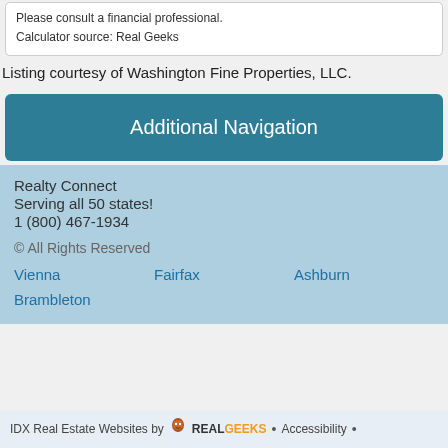Please consult a financial professional.
Calculator source: Real Geeks
Listing courtesy of Washington Fine Properties, LLC.
Additional Navigation
Realty Connect
Serving all 50 states!
1 (800) 467-1934
© All Rights Reserved
Vienna   Fairfax   Ashburn
Brambleton
IDX Real Estate Websites by Real Geeks • Accessibility •